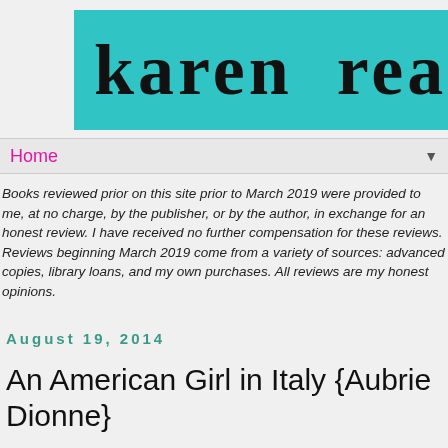[Figure (logo): Karen Reads blog logo — teal/cyan banner with large decorative black text reading 'karen reads']
Home ▼
Books reviewed prior on this site prior to March 2019 were provided to me, at no charge, by the publisher, or by the author, in exchange for an honest review. I have received no further compensation for these reviews. Reviews beginning March 2019 come from a variety of sources: advanced copies, library loans, and my own purchases. All reviews are my honest opinions.
August 19, 2014
An American Girl in Italy {Aubrie Dionne}